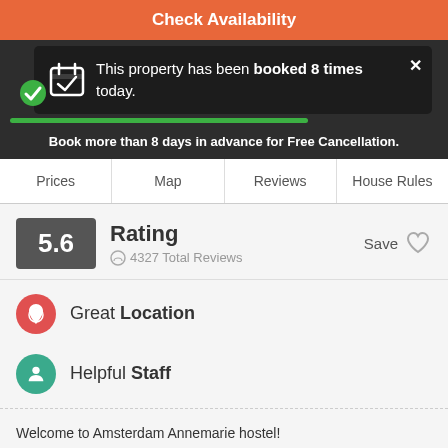Check Availability
This property has been booked 8 times today.
Book more than 8 days in advance for Free Cancellation.
Prices | Map | Reviews | House Rules
5.6 Rating — 4327 Total Reviews — Save
Great Location
Helpful Staff
Welcome to Amsterdam Annemarie hostel!
Are you finally going to Amsterdam? Looking for suitable budget accommodation? We're the right place for you – we'll make your stay one to remember.